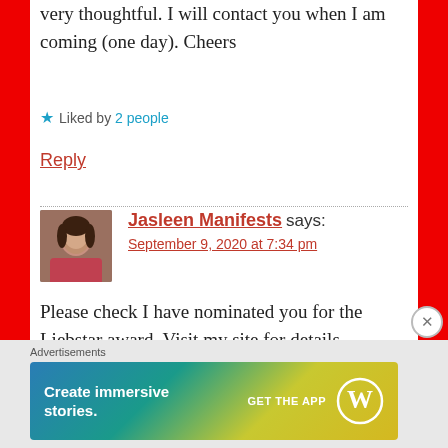very thoughtful. I will contact you when I am coming (one day). Cheers
★ Liked by 2 people
Reply
Jasleen Manifests says:
September 9, 2020 at 7:34 pm
Please check I have nominated you for the Liebstar award. Visit my site for details.
★ Liked by 2 people
Advertisements
Create immersive stories. GET THE APP